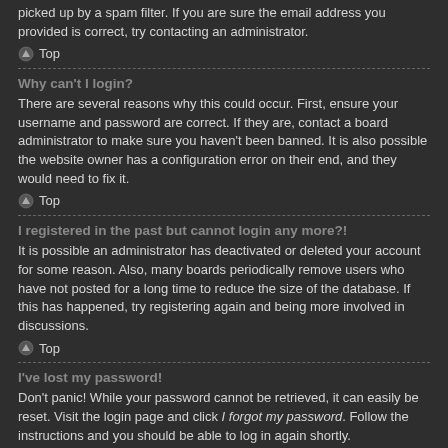picked up by a spam filter. If you are sure the email address you provided is correct, try contacting an administrator.
Top
Why can't I login?
There are several reasons why this could occur. First, ensure your username and password are correct. If they are, contact a board administrator to make sure you haven't been banned. It is also possible the website owner has a configuration error on their end, and they would need to fix it.
Top
I registered in the past but cannot login any more?!
It is possible an administrator has deactivated or deleted your account for some reason. Also, many boards periodically remove users who have not posted for a long time to reduce the size of the database. If this has happened, try registering again and being more involved in discussions.
Top
I've lost my password!
Don't panic! While your password cannot be retrieved, it can easily be reset. Visit the login page and click I forgot my password. Follow the instructions and you should be able to log in again shortly.
However, if you are not able to reset your password, contact a board administrator.
Top